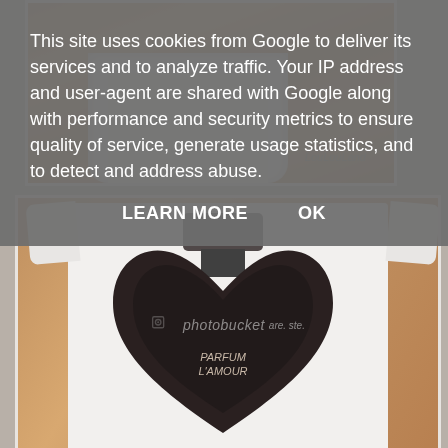[Figure (photo): Partial view of a white t-shirt laid on a wooden surface, watermarked with LouLouLand text]
[Figure (photo): White t-shirt with a perfume bottle graphic shaped like a heart, labeled PARFUM L'AMOUR, watermarked with Photobucket logo]
This site uses cookies from Google to deliver its services and to analyze traffic. Your IP address and user-agent are shared with Google along with performance and security metrics to ensure quality of service, generate usage statistics, and to detect and address abuse.
LEARN MORE    OK